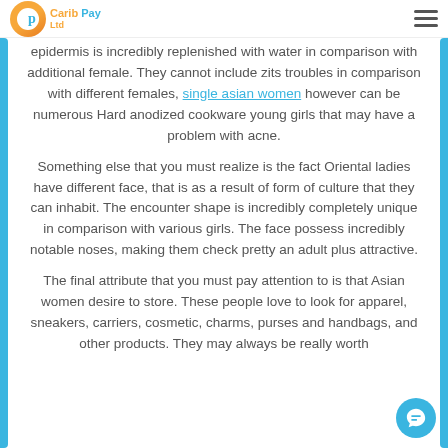Carib Pay — logo and navigation
epidermis is incredibly replenished with water in comparison with additional female. They cannot include zits troubles in comparison with different females, single asian women however can be numerous Hard anodized cookware young girls that may have a problem with acne.
Something else that you must realize is the fact Oriental ladies have different face, that is as a result of form of culture that they can inhabit. The encounter shape is incredibly completely unique in comparison with various girls. The face possess incredibly notable noses, making them check pretty an adult plus attractive.
The final attribute that you must pay attention to is that Asian women desire to store. These people love to look for apparel, sneakers, carriers, cosmetic, charms, purses and handbags, and other products. They may always be really worth